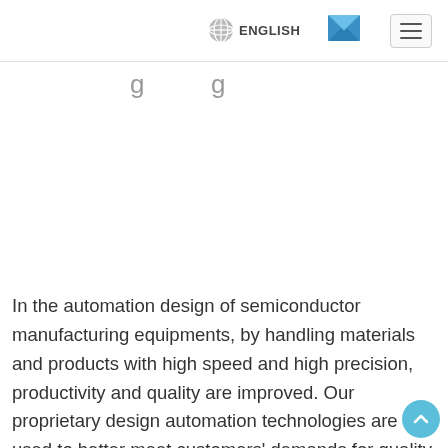[Figure (logo): TOWA company logo with blue text and pink circular icon]
ENGLISH
In the automation design of semiconductor manufacturing equipments, by handling materials and products with high speed and high precision, productivity and quality are improved. Our proprietary design automation technologies are used to better meet customers' demands for quality and